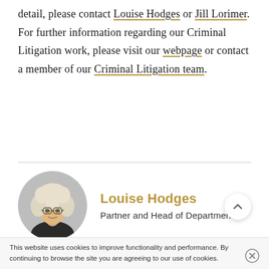detail, please contact Louise Hodges or Jill Lorimer. For further information regarding our Criminal Litigation work, please visit our webpage or contact a member of our Criminal Litigation team.
[Figure (photo): Circular portrait photo of Louise Hodges, a woman with curly white/blonde hair and glasses, wearing a dark top, against a light background.]
Louise Hodges
Partner and Head of Department
This website uses cookies to improve functionality and performance. By continuing to browse the site you are agreeing to our use of cookies.